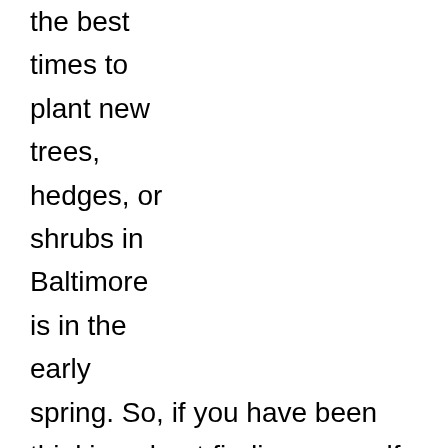the best times to plant new trees, hedges, or shrubs in Baltimore is in the early spring. So, if you have been thinking about finding yourself a new hobby that is relaxing, beautiful, and a little obscure then this is probably what you're looking for. Topiary is the ancient practice of sculpting foliage into fantastic shapes. This tradition has been practiced since Ancient Rome and it became very popular in medieval times. However, it began to fall out of fashion when people began to prefer more natural gardens that